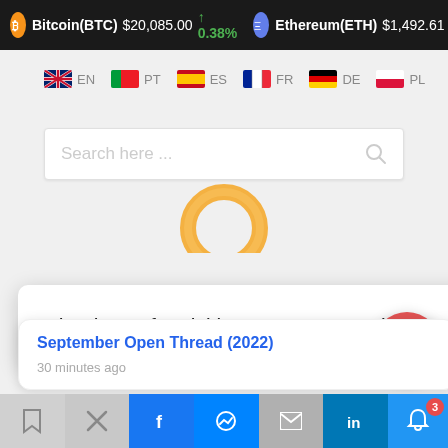Bitcoin(BTC) $20,085.00 ↑ 0.38%   Ethereum(ETH) $1,492.61
[Figure (screenshot): Language selector bar with flags: EN, PT, ES, FR, DE, PL]
[Figure (screenshot): Search bar with placeholder text 'Search here...' and search icon, with a circular logo (orange ring) partially visible below]
Thank you for visiting. You can now buy me a coffee!
September Open Thread (2022)
30 minutes ago
[Figure (infographic): Coffee cup FAB button (red circle with coffee cup icon) and notification bell with badge showing 3]
Social share bar with bookmark, Twitter, Facebook, Messenger, email, LinkedIn icons